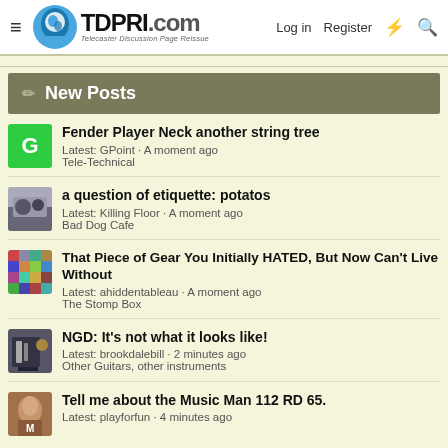TDPRI.com — Telecaster Discussion Page Reissue | Log in | Register
New Posts
Fender Player Neck another string tree
Latest: GPoint · A moment ago
Tele-Technical
a question of etiquette: potatos
Latest: Killing Floor · A moment ago
Bad Dog Cafe
That Piece of Gear You Initially HATED, But Now Can't Live Without
Latest: ahiddentableau · A moment ago
The Stomp Box
NGD: It's not what it looks like!
Latest: brookdalebill · 2 minutes ago
Other Guitars, other instruments
Tell me about the Music Man 112 RD 65.
Latest: playforfun · 4 minutes ago